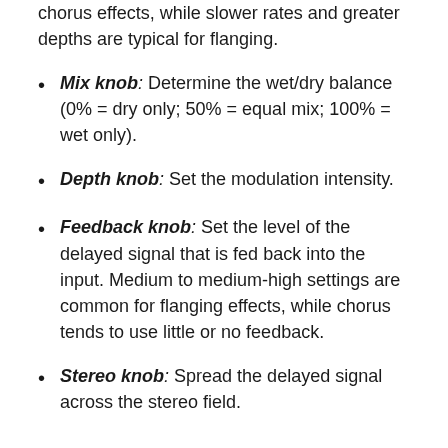rates and smaller depths are characteristics of chorus effects, while slower rates and greater depths are typical for flanging.
Mix knob: Determine the wet/dry balance (0% = dry only; 50% = equal mix; 100% = wet only).
Depth knob: Set the modulation intensity.
Feedback knob: Set the level of the delayed signal that is fed back into the input. Medium to medium-high settings are common for flanging effects, while chorus tends to use little or no feedback.
Stereo knob: Spread the delayed signal across the stereo field.
Alchemy Phaser effect parameters